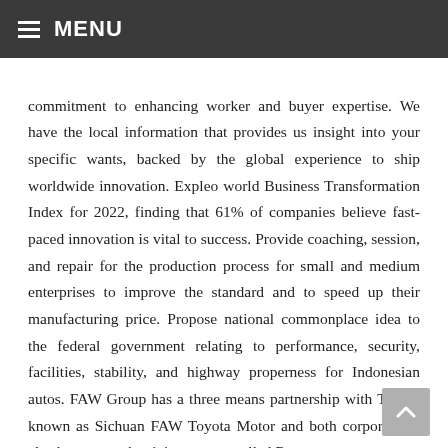MENU
commitment to enhancing worker and buyer expertise. We have the local information that provides us insight into your specific wants, backed by the global experience to ship worldwide innovation. Expleo world Business Transformation Index for 2022, finding that 61% of companies believe fast-paced innovation is vital to success. Provide coaching, session, and repair for the production process for small and medium enterprises to improve the standard and to speed up their manufacturing price. Propose national commonplace idea to the federal government relating to performance, security, facilities, stability, and highway properness for Indonesian autos. FAW Group has a three means partnership with Toyota known as Sichuan FAW Toyota Motor and both corporations also have one other joint venture called Ranz.